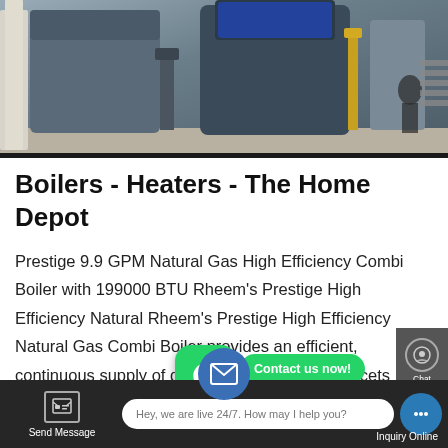[Figure (photo): Industrial boilers/heaters in a factory or warehouse setting, showing large blue/grey boiler equipment on a factory floor with workers visible in the background]
Boilers - Heaters - The Home Depot
Prestige 9.9 GPM Natural Gas High Efficiency Combi Boiler with 199000 BTU Rheem's Prestige High Efficiency Natural Rheem's Prestige High Efficiency Natural Gas Combi Boiler provides an efficient, continuous supply of domestic hot water for faucets showers, washing machines, etc.) and provides hydronic space heating for
[Figure (screenshot): WhatsApp icon (green rounded square) with Contact us now! speech bubble overlay]
Hey, we are live 24/7. How may I help you?
Send Message
Inquiry Online